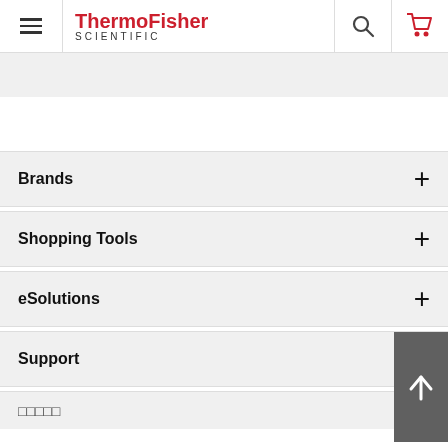ThermoFisher SCIENTIFIC
Brands
Shopping Tools
eSolutions
Support
□□□□□